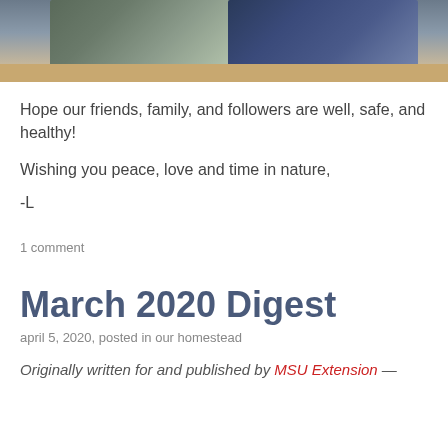[Figure (photo): Two people sitting at a wooden table, one in a gray/olive jacket and one in a dark navy blue top, photographed from about chest height up.]
Hope our friends, family, and followers are well, safe, and healthy!
Wishing you peace, love and time in nature,
-L
1 comment
March 2020 Digest
april 5, 2020, posted in our homestead
Originally written for and published by MSU Extension —